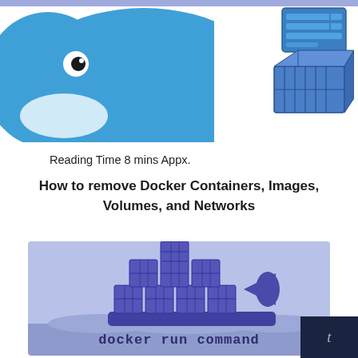[Figure (illustration): Top portion of a blue Docker whale illustration, showing the whale's head and body against white background, with a blue banner at very top]
[Figure (illustration): Top-right area showing a server rack icon and a Docker container (cargo container) icon in blue tones]
Reading Time 8 mins Appx.
How to remove Docker Containers, Images, Volumes, and Networks
[Figure (illustration): Docker logo illustration: a blue whale carrying stacked cargo containers on its back, floating on stylized waves, on a light blue-purple background. Below the whale scene is a darker purple band with the text 'docker run command' in bold monospace font.]
[Figure (other): Dark navy blue button/tab in bottom-right corner with a light italic 't' character]